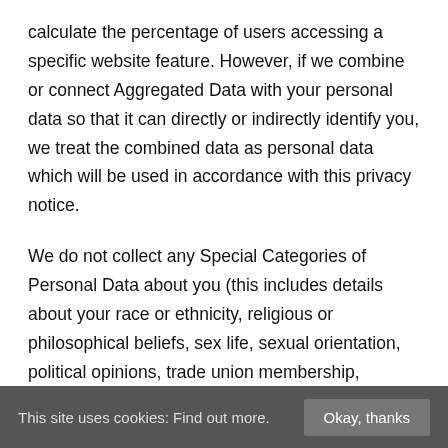calculate the percentage of users accessing a specific website feature. However, if we combine or connect Aggregated Data with your personal data so that it can directly or indirectly identify you, we treat the combined data as personal data which will be used in accordance with this privacy notice.
We do not collect any Special Categories of Personal Data about you (this includes details about your race or ethnicity, religious or philosophical beliefs, sex life, sexual orientation, political opinions, trade union membership, information about your health and genetic and biometric data). Nor do we collect any information about criminal convictions and offences.
This site uses cookies: Find out more.  Okay, thanks